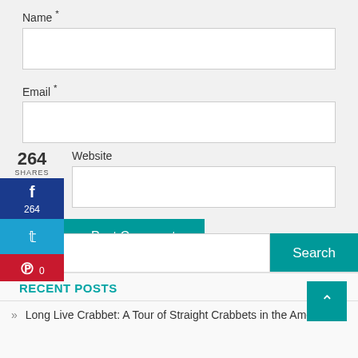Name *
Email *
264
SHARES
Website
[Figure (infographic): Social share sidebar with Facebook (264 shares), Twitter, and Pinterest (0) buttons stacked vertically on the left side]
Post Comment
Search ...
RECENT POSTS
Long Live Crabbet: A Tour of Straight Crabbets in the American